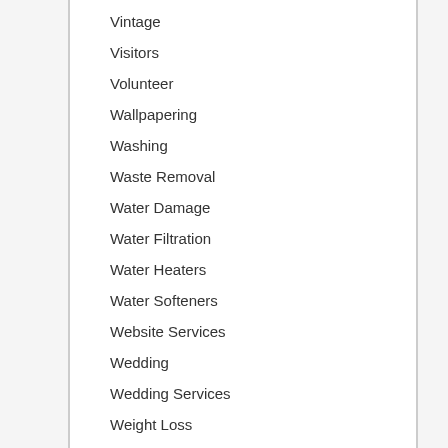Vintage
Visitors
Volunteer
Wallpapering
Washing
Waste Removal
Water Damage
Water Filtration
Water Heaters
Water Softeners
Website Services
Wedding
Wedding Services
Weight Loss
Well & Water Pump Repair